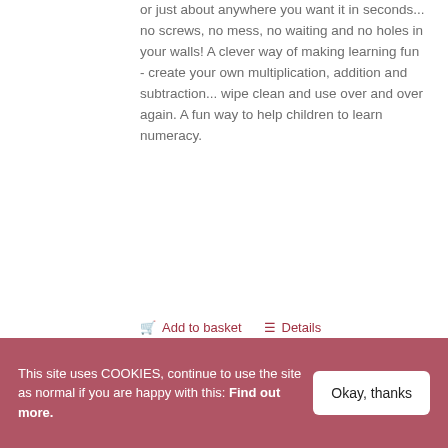or just about anywhere you want it in seconds... no screws, no mess, no waiting and no holes in your walls! A clever way of making learning fun - create your own multiplication, addition and subtraction... wipe clean and use over and over again. A fun way to help children to learn numeracy.
Add to basket   Details
This site uses COOKIES, continue to use the site as normal if you are happy with this: Find out more.